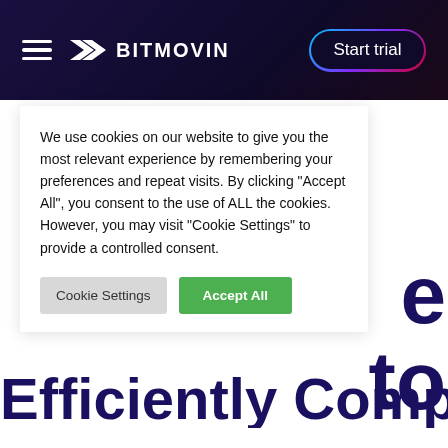BITMOVIN – Start trial
We use cookies on our website to give you the most relevant experience by remembering your preferences and repeat visits. By clicking "Accept All", you consent to the use of ALL the cookies. However, you may visit "Cookie Settings" to provide a controlled consent.
Cookie Settings | Accept All
Efficiently Compress